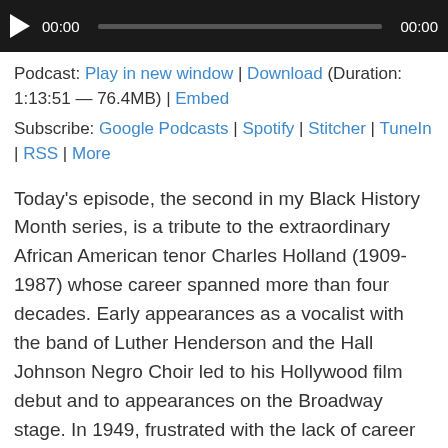[Figure (screenshot): Audio podcast player bar with play button, timestamp 00:00, progress bar, and end time 00:00 on dark background]
Podcast: Play in new window | Download (Duration: 1:13:51 — 76.4MB) | Embed
Subscribe: Google Podcasts | Spotify | Stitcher | TuneIn | RSS | More
Today's episode, the second in my Black History Month series, is a tribute to the extraordinary African American tenor Charles Holland (1909-1987) whose career spanned more than four decades. Early appearances as a vocalist with the band of Luther Henderson and the Hall Johnson Negro Choir led to his Hollywood film debut and to appearances on the Broadway stage. In 1949, frustrated with the lack of career opportunities for an African American tenor, Charles Holland departed for Europe, where he enjoyed a distinguished career. Late in his life he experienced an extraordinary career resurgence through on